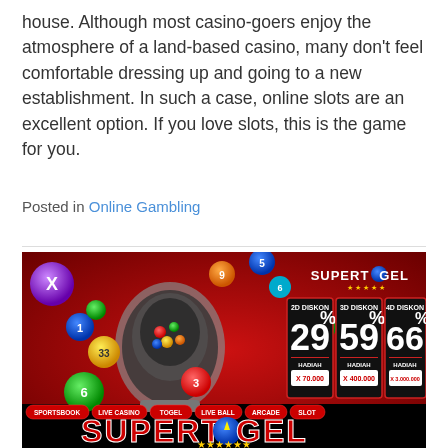house. Although most casino-goers enjoy the atmosphere of a land-based casino, many don't feel comfortable dressing up and going to a new establishment. In such a case, online slots are an excellent option. If you love slots, this is the game for you.
Posted in Online Gambling
[Figure (illustration): SUPERTOGEL advertisement banner showing lottery balls, a lottery machine, discount percentages for 2D (29%), 3D (59%), 4D (66%) with prizes x70.000, x400.000, x3.000.000, menu items: SPORTSBOOK, LIVE CASINO, TOGEL, LIVE BALL, ARCADE, SLOT, and SUPERTOGEL logo at the bottom.]